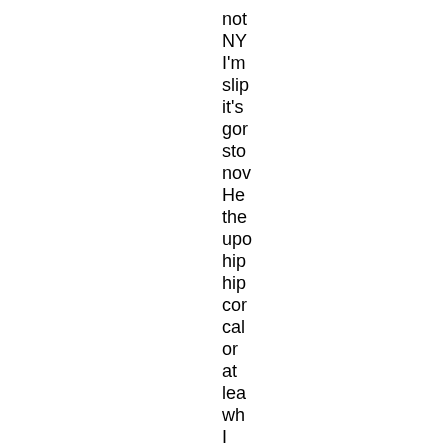not NY I'm slip it's gor sto nov He the upo hip hip cor cal or at lea wh I cot fin onl